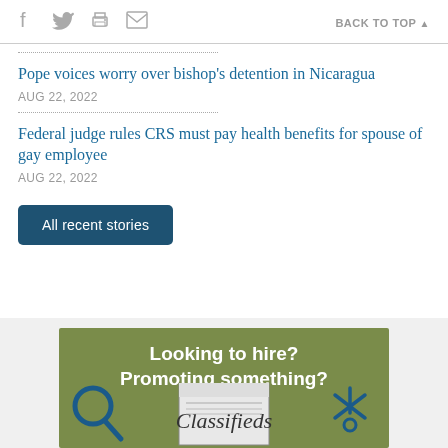Social icons (facebook, twitter, print, email) | BACK TO TOP
Pope voices worry over bishop's detention in Nicaragua
AUG 22, 2022
Federal judge rules CRS must pay health benefits for spouse of gay employee
AUG 22, 2022
All recent stories
[Figure (illustration): Advertisement banner with olive/green background showing 'Looking to hire? Promoting something?' text, with a magnifying glass icon, a newspaper image labeled 'Classifieds', and a star/sparkle icon]